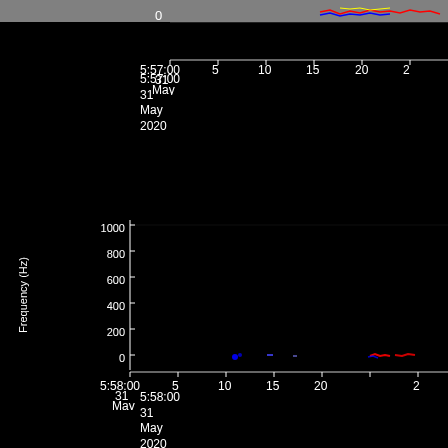[Figure (continuous-plot): Spectrogram plot panel (top, partially visible): black background with colored signal traces (red, blue, yellow) near y=0. X-axis shows time ticks. A gray bar appears at the top.]
[Figure (continuous-plot): Spectrogram panel (2): Frequency (Hz) on y-axis from 0 to 1000, time on x-axis from 5:58:00 to ~5:58:30, 31 May 2020. Mostly black with sparse colored dots (blue, red) near 0 Hz around time 10-15s and 22-28s marks.]